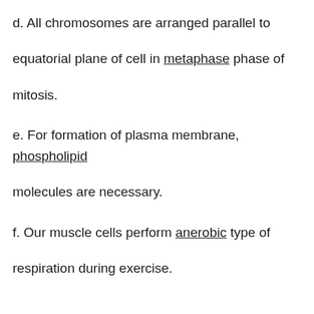d. All chromosomes are arranged parallel to equatorial plane of cell in metaphase phase of mitosis.
e. For formation of plasma membrane, phospholipid molecules are necessary.
f. Our muscle cells perform anerobic type of respiration during exercise.